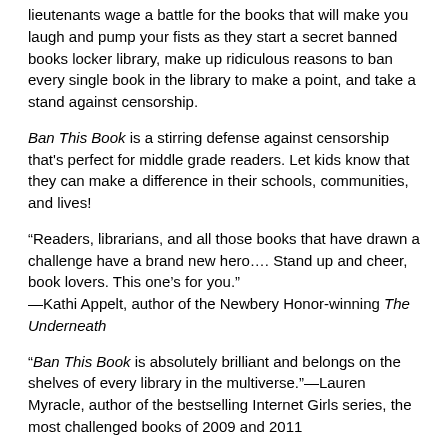lieutenants wage a battle for the books that will make you laugh and pump your fists as they start a secret banned books locker library, make up ridiculous reasons to ban every single book in the library to make a point, and take a stand against censorship.
Ban This Book is a stirring defense against censorship that's perfect for middle grade readers. Let kids know that they can make a difference in their schools, communities, and lives!
“Readers, librarians, and all those books that have drawn a challenge have a brand new hero…. Stand up and cheer, book lovers. This one’s for you.” —Kathi Appelt, author of the Newbery Honor-winning The Underneath
“Ban This Book is absolutely brilliant and belongs on the shelves of every library in the multiverse.”—Lauren Myracle, author of the bestselling Internet Girls series, the most challenged books of 2009 and 2011
“Quick paced and with clear, easy-to-read prose, this is a book poised for wide readership and classroom use.”—Booklist
“A stout defense of the right to read.” —Kirkus Reviews
“Gratz delivers a book lover’s book that speaks volumes about kids’ power